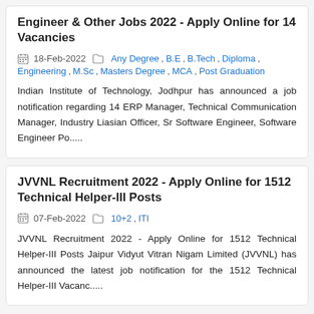Engineer & Other Jobs 2022 - Apply Online for 14 Vacancies
18-Feb-2022   Any Degree , B.E , B.Tech , Diploma , Engineering , M.Sc , Masters Degree , MCA , Post Graduation
Indian Institute of Technology, Jodhpur has announced a job notification regarding 14 ERP Manager, Technical Communication Manager, Industry Liasian Officer, Sr Software Engineer, Software Engineer Po.....
JVVNL Recruitment 2022 - Apply Online for 1512 Technical Helper-III Posts
07-Feb-2022   10+2 , ITI
JVVNL Recruitment 2022 - Apply Online for 1512 Technical Helper-III Posts Jaipur Vidyut Vitran Nigam Limited (JVVNL) has announced the latest job notification for the 1512 Technical Helper-III Vacanc.....